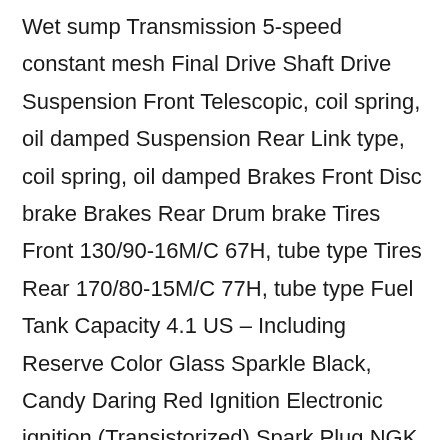Wet sump Transmission 5-speed constant mesh Final Drive Shaft Drive Suspension Front Telescopic, coil spring, oil damped Suspension Rear Link type, coil spring, oil damped Brakes Front Disc brake Brakes Rear Drum brake Tires Front 130/90-16M/C 67H, tube type Tires Rear 170/80-15M/C 77H, tube type Fuel Tank Capacity 4.1 US – Including Reserve Color Glass Sparkle Black, Candy Daring Red Ignition Electronic ignition (Transistorized) Spark Plug NGK DR7EA or DENSO X22ESR-U Headlight 12V 60/55W Tail Light 12V 21/5W Overall Length 2500 mm (98.4 in) Overall Width 955 mm (37.6 in) Wheelbase 1655 mm (65.2 in) Ground Clearance 140 mm (5.5 in) Seat Height 700 mm (27.6 in) Curb Weight 611 lbs Honda enduro Yamaha 01 02 owner 03 1200r s2r 1299 electric 1299s 1299r 899 899r 899s bmw can-am canam indian